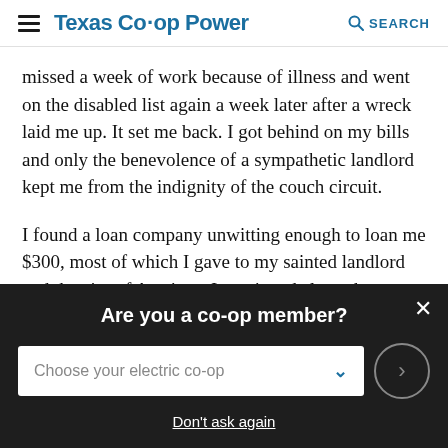Texas Co-op Power  SEARCH
missed a week of work because of illness and went on the disabled list again a week later after a wreck laid me up. It set me back. I got behind on my bills and only the benevolence of a sympathetic landlord kept me from the indignity of the couch circuit.
I found a loan company unwitting enough to loan me $300, most of which I gave to my sainted landlord and the city of Austin as I continued along the comeback trail.
Are you a co-op member?
Choose your electric co-op
Don't ask again